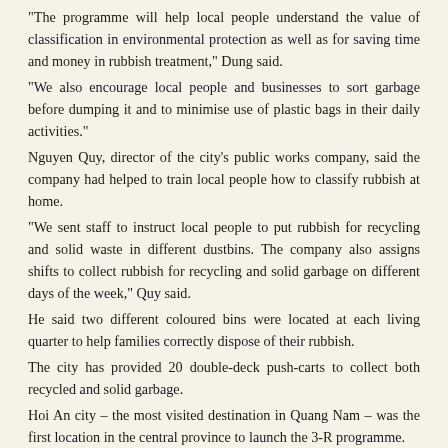"The programme will help local people understand the value of classification in environmental protection as well as for saving time and money in rubbish treatment," Dung said.
"We also encourage local people and businesses to sort garbage before dumping it and to minimise use of plastic bags in their daily activities."
Nguyen Quy, director of the city's public works company, said the company had helped to train local people how to classify rubbish at home.
"We sent staff to instruct local people to put rubbish for recycling and solid waste in different dustbins. The company also assigns shifts to collect rubbish for recycling and solid garbage on different days of the week," Quy said.
He said two different coloured bins were located at each living quarter to help families correctly dispose of their rubbish.
The city has provided 20 double-deck push-carts to collect both recycled and solid garbage.
Hoi An city – the most visited destination in Quang Nam – was the first location in the central province to launch the 3-R programme.
Hoi An was the first city in Viet Nam to host a Car Free Day in an effort to make the environment in the tourism hub cleaner.